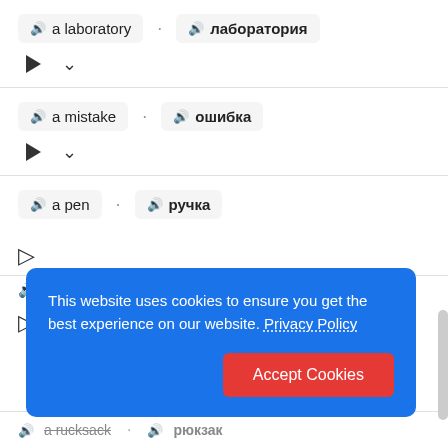🔊 a laboratory · 🔊 лаборатория
▷ ∨
🔊 a mistake · 🔊 ошибка
▷ ∨
🔊 a pen · 🔊 ручка
This website uses cookies to ensure you get the best experience on our website. Privacy Policy
Accept Cookies
🔊 a rucksack · 🔊 рюкзак